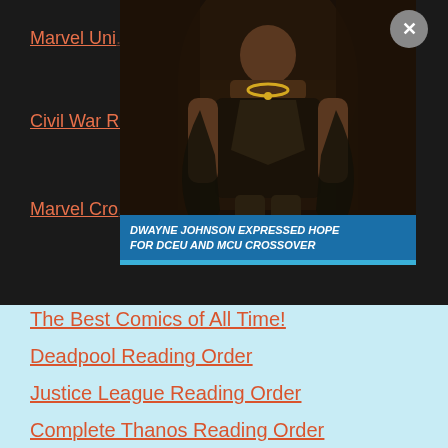[Figure (screenshot): Video ad overlay showing Dwayne Johnson in Black Adam costume with text 'DWAYNE JOHNSON EXPRESSED HOPE FOR DCEU AND MCU CROSSOVER' and a close button in the top right]
Marvel Cinematic Universe [partially visible]
Civil War Re... [partially visible]
Marvel Cro... [partially visible]
The Best Comics of All Time!
Deadpool Reading Order
Justice League Reading Order
Complete Thanos Reading Order
X-Men Reading Guide (Modern Era)
Age of Apocalypse Reading Order
Modern Marvel Universe in 25 Trades
Best Tablet For Digital Comics